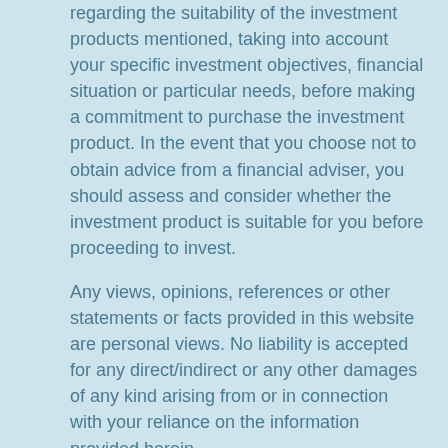regarding the suitability of the investment products mentioned, taking into account your specific investment objectives, financial situation or particular needs, before making a commitment to purchase the investment product. In the event that you choose not to obtain advice from a financial adviser, you should assess and consider whether the investment product is suitable for you before proceeding to invest.
Any views, opinions, references or other statements or facts provided in this website are personal views. No liability is accepted for any direct/indirect or any other damages of any kind arising from or in connection with your reliance on the information provided herein.
Privacy Policy / PDPA Notice:
By providing us your personal data (i.e. name, email address and phone number), you acknowledge and consent to our collection of your personal data for the purposes listed below: